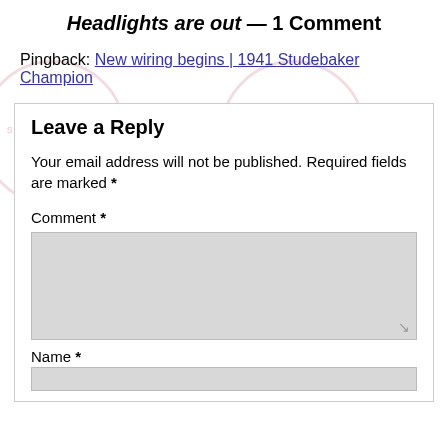Headlights are out — 1 Comment
Pingback: New wiring begins | 1941 Studebaker Champion
Leave a Reply
Your email address will not be published. Required fields are marked *
Comment *
Name *